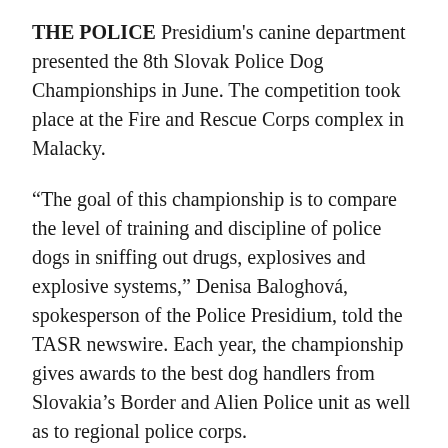THE POLICE Presidium's canine department presented the 8th Slovak Police Dog Championships in June. The competition took place at the Fire and Rescue Corps complex in Malacky.
“The goal of this championship is to compare the level of training and discipline of police dogs in sniffing out drugs, explosives and explosive systems,” Denisa Baloghová, spokesperson of the Police Presidium, told the TASR newswire. Each year, the championship gives awards to the best dog handlers from Slovakia’s Border and Alien Police unit as well as to regional police corps.
The police dogs compete in several disciplines such as detection of drugs and explosives and obedience, Baloghová told the SITA newswire. Trnava Region